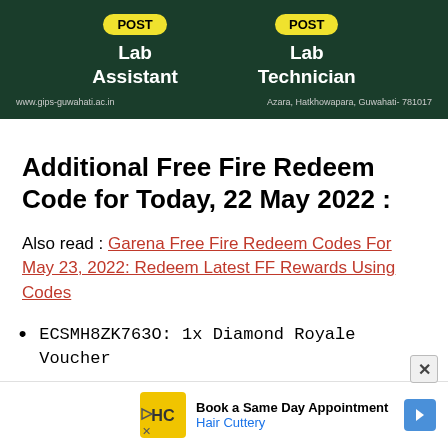[Figure (infographic): Dark green advertisement banner for GIPS Guwahati showing two post positions: Lab Assistant and Lab Technician, with yellow 'POST' labels. Website: www.gips-guwahati.ac.in, Address: Azara, Hatkhowapara, Guwahati- 781017]
Additional Free Fire Redeem Code for Today, 22 May 2022 :
Also read : Garena Free Fire Redeem Codes For May 23, 2022: Redeem Latest FF Rewards Using Codes
ECSMH8ZK763O: 1x Diamond Royale Voucher
[Figure (infographic): Advertisement overlay for Hair Cuttery: 'Book a Same Day Appointment' with HC logo and navigation arrow, plus close/play icons.]